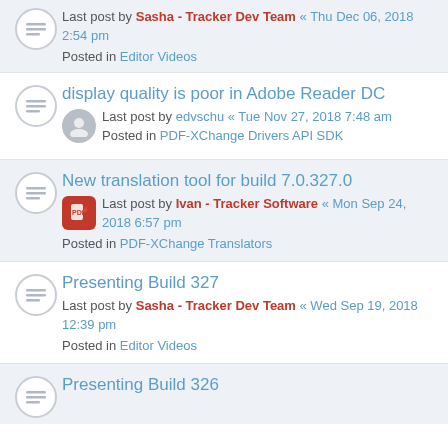Last post by Sasha - Tracker Dev Team « Thu Dec 06, 2018 2:54 pm
Posted in Editor Videos
display quality is poor in Adobe Reader DC
Last post by edvschu « Tue Nov 27, 2018 7:48 am
Posted in PDF-XChange Drivers API SDK
New translation tool for build 7.0.327.0
Last post by Ivan - Tracker Software « Mon Sep 24, 2018 6:57 pm
Posted in PDF-XChange Translators
Presenting Build 327
Last post by Sasha - Tracker Dev Team « Wed Sep 19, 2018 12:39 pm
Posted in Editor Videos
Presenting Build 326